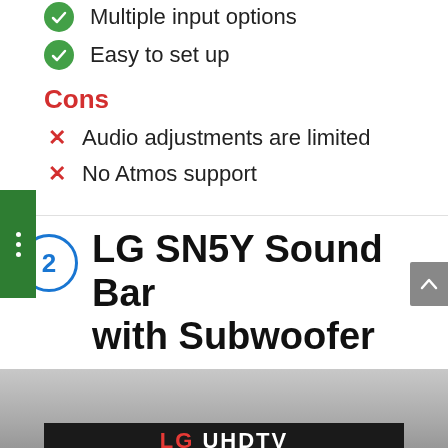Multiple input options
Easy to set up
Cons
Audio adjustments are limited
No Atmos support
2 LG SN5Y Sound Bar with Subwoofer
[Figure (photo): Photo of LG UHD TV product, showing the bottom portion of a TV screen with 'LG UHD TV' branding visible]